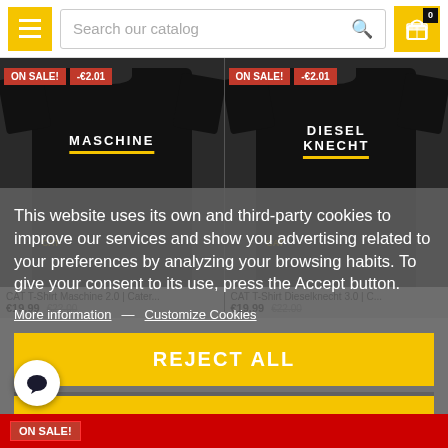Search our catalog — navigation header with menu button, search bar, and cart (0 items)
[Figure (photo): Two product photos side by side: left shows a man wearing a black CAT T-Shirt Maschine 2.0 with ON SALE! and -€2.01 badges; right shows a man wearing a black CAT T-Shirt Dieselknecht 3.0 with ON SALE! and -€2.01 badges.]
This website uses its own and third-party cookies to improve our services and show you advertising related to your preferences by analyzing your browsing habits. To give your consent to its use, press the Accept button.
More information — Customize Cookies
CAT T-Shirt Maschine 2.0 | Cater...
CAT T-Shirt Dieselknecht 3.0 | C...
€19.99  €22.00
REJECT ALL
I ACCEPT
ON SALE!